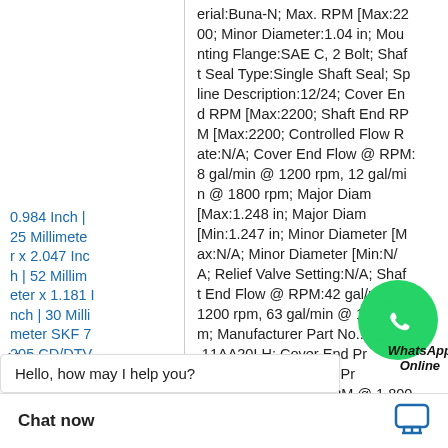0.984 Inch | 25 Millimeter x 2.047 Inch | 52 Millimeter x 1.181 Inch | 30 Millimeter SKF 7205 CD/DTVQ253 Angular Contact Ball Bearings
erial:Buna-N; Max. RPM [Max:2200; Minor Diameter:1.04 in; Mounting Flange:SAE C, 2 Bolt; Shaft Seal Type:Single Shaft Seal; Spline Description:12/24; Cover End RPM [Max:2200; Shaft End RPM [Max:2200; Controlled Flow Rate:N/A; Cover End Flow @ RPM:8 gal/min @ 1200 rpm, 12 gal/min @ 1800 rpm; Major Diam [Max:1.248 in; Major Diam [Min:1.247 in; Minor Diameter [Max:N/A; Minor Diameter [Min:N/A; Relief Valve Setting:N/A; Shaft End Flow @ RPM:42 gal/min @ 1200 rpm, 63 gal/min @ 1800 rpm; Manufacturer Part No.:4520V-11AA20LH; Cover End Pr [Max:3000; Shaft End Pressure [Max:2500; GPM @ 1,800 d:12; GPM @ 1,800 t:63; Integral Valv u/e Integral Valv
Hello, how may I help you?
Chat now